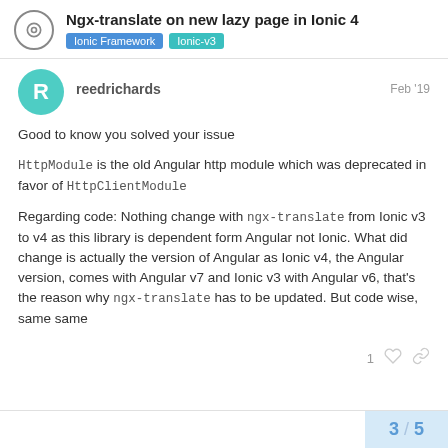Ngx-translate on new lazy page in Ionic 4 | Ionic Framework | Ionic-v3
reedrichards  Feb '19
Good to know you solved your issue
HttpModule is the old Angular http module which was deprecated in favor of HttpClientModule
Regarding code: Nothing change with ngx-translate from Ionic v3 to v4 as this library is dependent form Angular not Ionic. What did change is actually the version of Angular as Ionic v4, the Angular version, comes with Angular v7 and Ionic v3 with Angular v6, that’s the reason why ngx-translate has to be updated. But code wise, same same
3 / 5